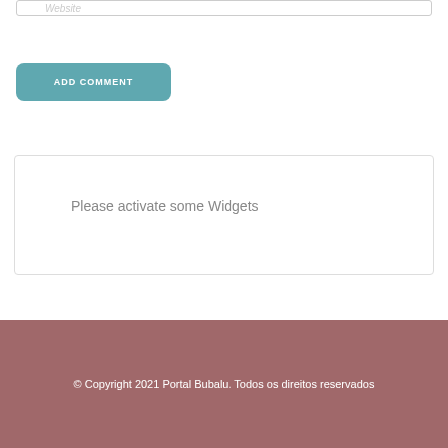Website
ADD COMMENT
Please activate some Widgets
© Copyright 2021 Portal Bubalu. Todos os direitos reservados